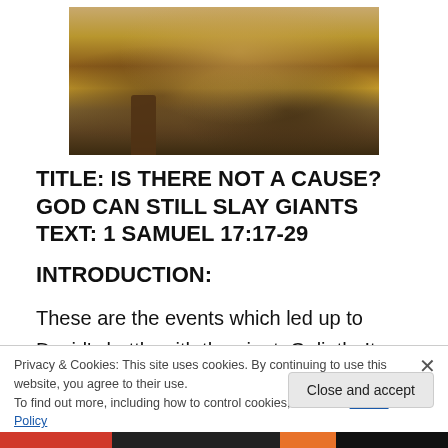[Figure (illustration): Painting showing figures in a field scene, likely depicting a biblical scene with David and Goliath. Visible are legs and lower bodies of figures in ancient clothing, with golden grassy background.]
TITLE: IS THERE NOT A CAUSE? GOD CAN STILL SLAY GIANTS
TEXT: 1 SAMUEL 17:17-29
INTRODUCTION:
These are the events which led up to David’s battle with the giant, Goliath. It was a battle to remove the reproach
Privacy & Cookies: This site uses cookies. By continuing to use this website, you agree to their use.
To find out more, including how to control cookies, see here: Cookie Policy
Close and accept